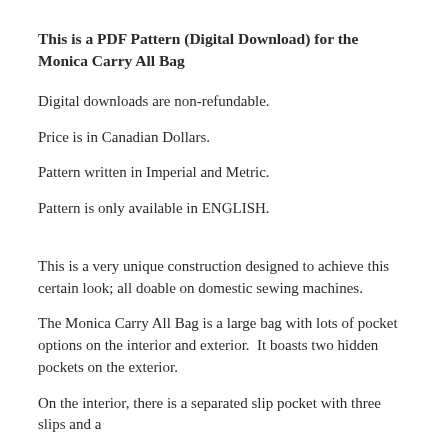This is a PDF Pattern (Digital Download) for the Monica Carry All Bag
Digital downloads are non-refundable.
Price is in Canadian Dollars.
Pattern written in Imperial and Metric.
Pattern is only available in ENGLISH.
This is a very unique construction designed to achieve this certain look; all doable on domestic sewing machines.
The Monica Carry All Bag is a large bag with lots of pocket options on the interior and exterior.  It boasts two hidden pockets on the exterior.
On the interior, there is a separated slip pocket with three slips and a